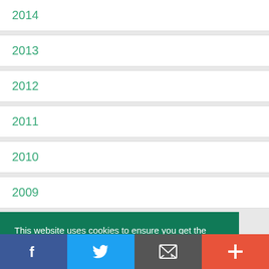2014
2013
2012
2011
2010
2009
This website uses cookies to ensure you get the best experience on our website.
Please Read
Facebook | Twitter | Email | More